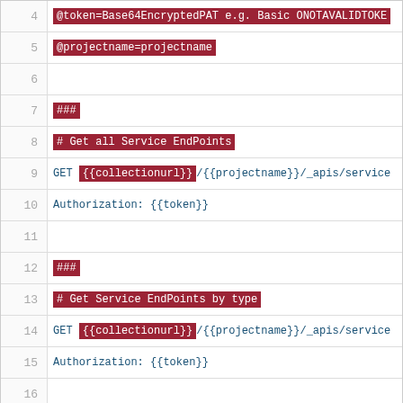4  @token=Base64EncryptedPAT e.g. Basic ONOTAVALIDTOKE
5  @projectname=projectname
6
7  ###
8  # Get all Service EndPoints
9  GET {{collectionurl}}/{{projectname}}/_apis/service
10 Authorization: {{token}}
11
12 ###
13 # Get Service EndPoints by type
14 GET {{collectionurl}}/{{projectname}}/_apis/service
15 Authorization: {{token}}
16
Privacy & Cookies: This site uses cookies. By continuing to use this website, you agree to their use. To find out more, including how to control cookies, see here: Cookie Policy
Close and accept